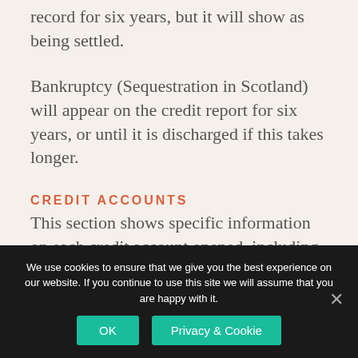record for six years, but it will show as being settled.
Bankruptcy (Sequestration in Scotland) will appear on the credit report for six years, or until it is discharged if this takes longer.
CREDIT ACCOUNTS
This section shows specific information on each credit account opened, including status and any past due information. Creditor
We use cookies to ensure that we give you the best experience on our website. If you continue to use this site we will assume that you are happy with it.